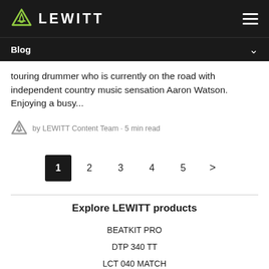LEWITT Blog
touring drummer who is currently on the road with independent country music sensation Aaron Watson. Enjoying a busy...
by LEWITT Content Team · 5 min read
1 2 3 4 5 >
Explore LEWITT products
BEATKIT PRO
DTP 340 TT
LCT 040 MATCH